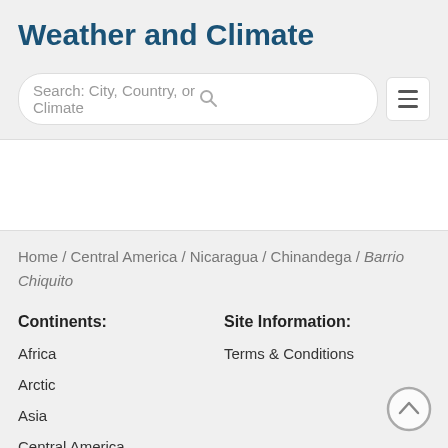Weather and Climate
[Figure (screenshot): Search bar with placeholder text 'Search: City, Country, or Climate' and a hamburger menu button]
Home / Central America / Nicaragua / Chinandega / Barrio Chiquito
Continents:
Site Information:
Africa
Terms & Conditions
Arctic
Asia
Central America